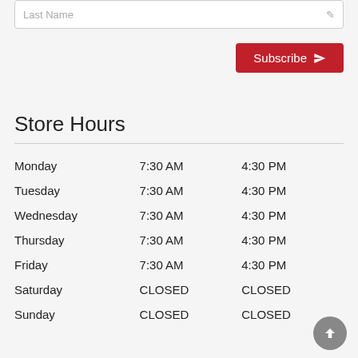Last Name
Subscribe
Store Hours
| Day | Open | Close |
| --- | --- | --- |
| Monday | 7:30 AM | 4:30 PM |
| Tuesday | 7:30 AM | 4:30 PM |
| Wednesday | 7:30 AM | 4:30 PM |
| Thursday | 7:30 AM | 4:30 PM |
| Friday | 7:30 AM | 4:30 PM |
| Saturday | CLOSED | CLOSED |
| Sunday | CLOSED | CLOSED |